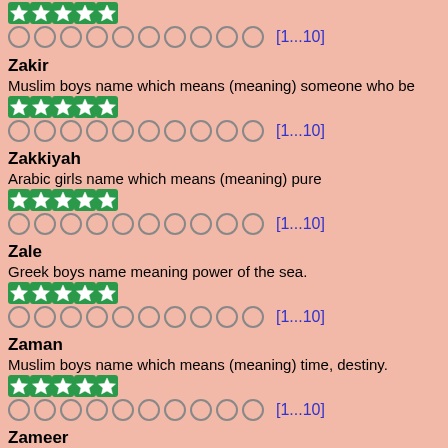[Figure (other): Five green star rating icons]
○○○○○○○○○○  [1...10]
Zakir
Muslim boys name which means (meaning) someone who be...
[Figure (other): Five green star rating icons]
○○○○○○○○○○  [1...10]
Zakkiyah
Arabic girls name which means (meaning) pure
[Figure (other): Five green star rating icons]
○○○○○○○○○○  [1...10]
Zale
Greek boys name meaning power of the sea.
[Figure (other): Five green star rating icons]
○○○○○○○○○○  [1...10]
Zaman
Muslim boys name which means (meaning) time, destiny.
[Figure (other): Five green star rating icons]
○○○○○○○○○○  [1...10]
Zameer
Muslim boys name which means (meaning) conscience...